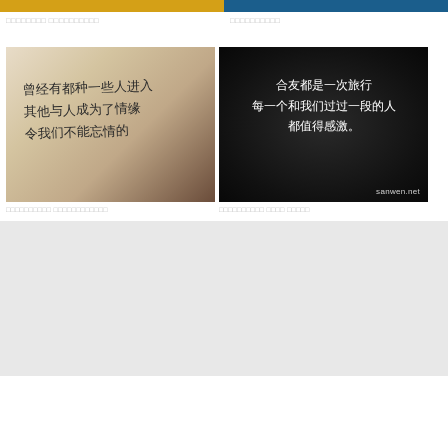□□□□□□□□ □□□□□□□□□□
□□□□□□□□□□
[Figure (photo): Handwritten Chinese text on light beige/tan paper background with dark vignette edges]
[Figure (photo): White handwritten Chinese text on dark/black textured background with sanwen.net watermark]
□□□□□□□□□□ □□□□□□□□□□□□
□□□□□□□□□□ □□□□ □□□□□